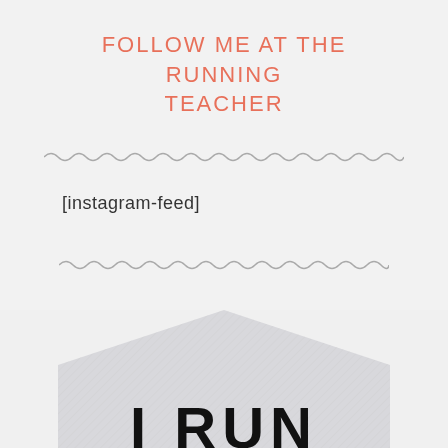FOLLOW ME AT THE RUNNING TEACHER
[instagram-feed]
[Figure (illustration): Hexagonal badge/logo shape with diagonal line texture, light gray, partially visible at bottom of page with bold text 'I RUN' overlaid]